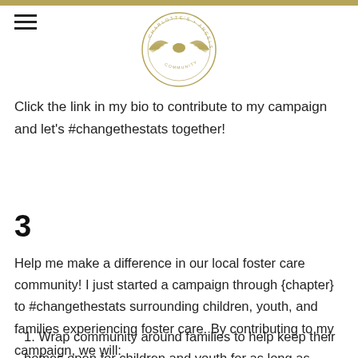[Figure (logo): Charlotte's Angels Community logo — circular emblem with wings and text around the border]
Click the link in my bio to contribute to my campaign and let's #changethestats together!
3
Help me make a difference in our local foster care community! I just started a campaign through {chapter} to #changethestats surrounding children, youth, and families experiencing foster care. By contributing to my campaign, we will:
1. Wrap community around families to help keep their homes open for children and youth for as long as